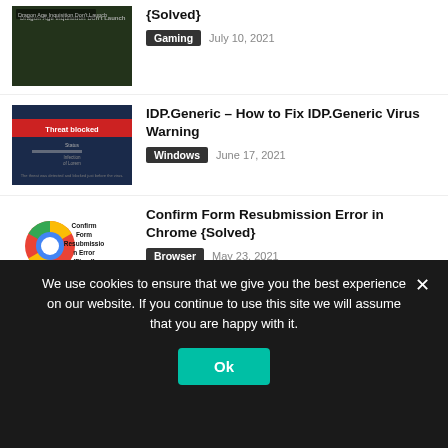[Figure (screenshot): Gaming screenshot thumbnail (top, partially cropped)]
{Solved}
Gaming   July 10, 2021
[Figure (screenshot): Antivirus threat blocked screen with red bar]
IDP.Generic – How to Fix IDP.Generic Virus Warning
Windows   June 17, 2021
[Figure (screenshot): Chrome logo with Confirm Form Resubmission Error text]
Confirm Form Resubmission Error in Chrome {Solved}
Browser   May 23, 2021
[Figure (screenshot): Gaming screenshot thumbnail showing vehicles]
9 Easy Ways to Run High End Games Without Graphics Card
Gaming   May 13, 2021
We use cookies to ensure that we give you the best experience on our website. If you continue to use this site we will assume that you are happy with it.
Ok